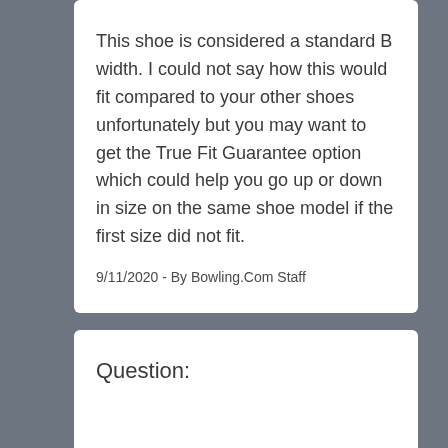This shoe is considered a standard B width. I could not say how this would fit compared to your other shoes unfortunately but you may want to get the True Fit Guarantee option which could help you go up or down in size on the same shoe model if the first size did not fit.
9/11/2020 - By Bowling.Com Staff
Question: